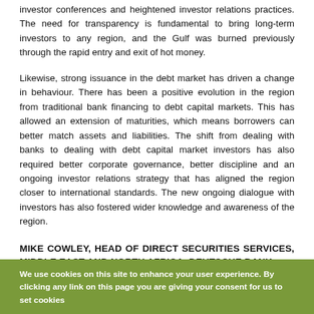investor conferences and heightened investor relations practices. The need for transparency is fundamental to bring long-term investors to any region, and the Gulf was burned previously through the rapid entry and exit of hot money.
Likewise, strong issuance in the debt market has driven a change in behaviour. There has been a positive evolution in the region from traditional bank financing to debt capital markets. This has allowed an extension of maturities, which means borrowers can better match assets and liabilities. The shift from dealing with banks to dealing with debt capital market investors has also required better corporate governance, better discipline and an ongoing investor relations strategy that has aligned the region closer to international standards. The new ongoing dialogue with investors has also fostered wider knowledge and awareness of the region.
MIKE COWLEY, HEAD OF DIRECT SECURITIES SERVICES, MIDDLE EAST AND NORTH AFRICA, DEUTSCHE BANK
We use cookies on this site to enhance your user experience. By clicking any link on this page you are giving your consent for us to set cookies